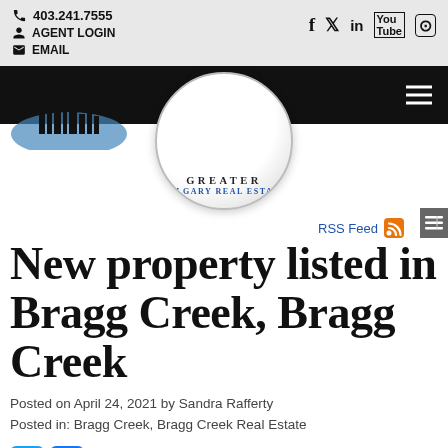403.241.7555 | AGENT LOGIN | EMAIL
[Figure (logo): Greater Calgary Real Estate logo — circular badge with city skyline silhouette, text GREATER CALGARY REAL ESTATE]
RSS Feed
New property listed in Bragg Creek, Bragg Creek
Posted on April 24, 2021 by Sandra Rafferty
Posted in: Bragg Creek, Bragg Creek Real Estate